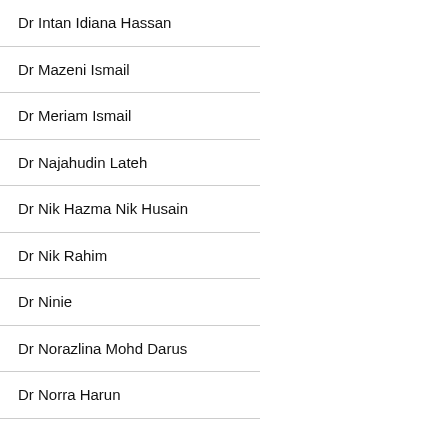| Dr Intan Idiana Hassan |
| Dr Mazeni Ismail |
| Dr Meriam Ismail |
| Dr Najahudin Lateh |
| Dr Nik Hazma Nik Husain |
| Dr Nik Rahim |
| Dr Ninie |
| Dr Norazlina Mohd Darus |
| Dr Norra Harun |